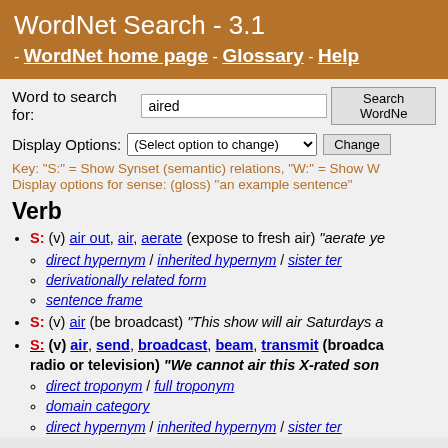WordNet Search - 3.1 - WordNet home page - Glossary - Help
Word to search for: aired  Search WordNet
Display Options: (Select option to change)  Change
Key: "S:" = Show Synset (semantic) relations, "W:" = Show W  Display options for sense: (gloss) "an example sentence"
Verb
S: (v) air out, air, aerate (expose to fresh air) "aerate ye
direct hypernym / inherited hypernym / sister term
derivationally related form
sentence frame
S: (v) air (be broadcast) "This show will air Saturdays a
S: (v) air, send, broadcast, beam, transmit (broadcast via radio or television) "We cannot air this X-rated son
direct troponym / full troponym
domain category
direct hypernym / inherited hypernym / sister term